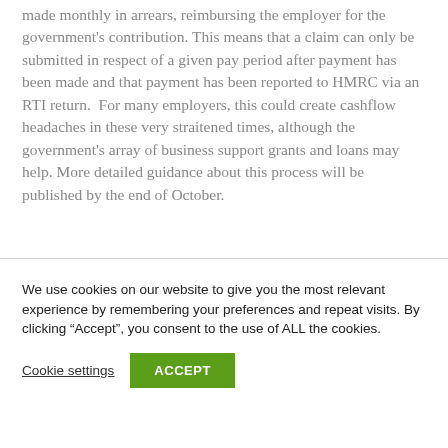made monthly in arrears, reimbursing the employer for the government's contribution. This means that a claim can only be submitted in respect of a given pay period after payment has been made and that payment has been reported to HMRC via an RTI return. For many employers, this could create cashflow headaches in these very straitened times, although the government's array of business support grants and loans may help. More detailed guidance about this process will be published by the end of October.
We use cookies on our website to give you the most relevant experience by remembering your preferences and repeat visits. By clicking "Accept", you consent to the use of ALL the cookies.
Cookie settings
ACCEPT